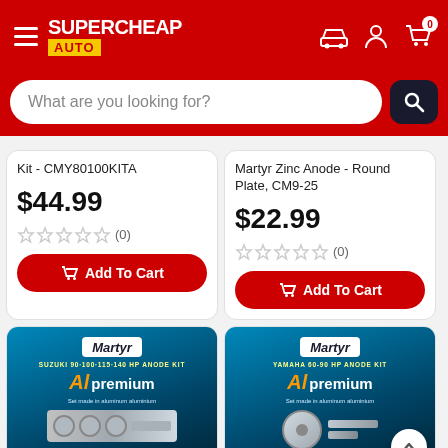Supercheap Auto - navigation header with search bar
Kit - CMY80100KITA
$44.99
(0)
Add To Cart
Martyr Zinc Anode - Round Plate, CM9-25
$22.99
(0)
Add To Cart
[Figure (photo): Martyr Suzuki 90-100-115-140 HP Anode Kit Al Premium product packaging]
[Figure (photo): Martyr Yamaha 60-90 HP Anode Kit Al Premium product packaging]